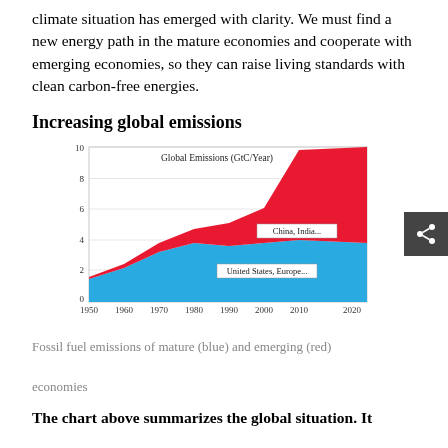climate situation has emerged with clarity. We must find a new energy path in the mature economies and cooperate with emerging economies, so they can raise living standards with clean carbon-free energies.
Increasing global emissions
[Figure (area-chart): Global Emissions (GtC/Year)]
Fossil fuel emissions of mature (blue) and emerging (red) economies
The chart above summarizes the global situation. It